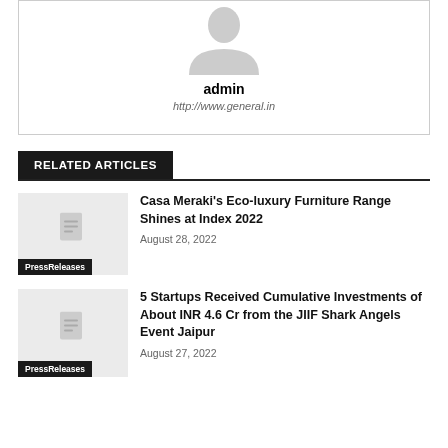[Figure (illustration): Grey avatar/person silhouette placeholder image]
admin
http://www.general.in
RELATED ARTICLES
[Figure (photo): Placeholder article thumbnail with document icon and PressReleases tag]
Casa Meraki's Eco-luxury Furniture Range Shines at Index 2022
August 28, 2022
[Figure (photo): Placeholder article thumbnail with document icon and PressReleases tag]
5 Startups Received Cumulative Investments of About INR 4.6 Cr from the JIIF Shark Angels Event Jaipur
August 27, 2022